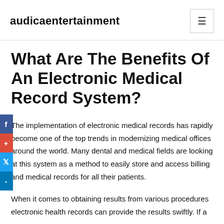audicaentertainment
What Are The Benefits Of An Electronic Medical Record System?
The implementation of electronic medical records has rapidly become one of the top trends in modernizing medical offices around the world. Many dental and medical fields are looking at this system as a method to easily store and access billing and medical records for all their patients.
When it comes to obtaining results from various procedures electronic health records can provide the results swiftly. If a